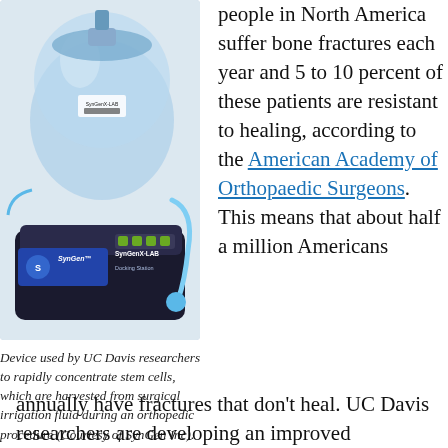[Figure (photo): SynGen SynGenX-LAB Docking Station device — a medical instrument used to concentrate stem cells, with a blue transparent container on top of a black base unit with controls, and blue tubing.]
Device used by UC Davis researchers to rapidly concentrate stem cells, which are harvested from surgical irrigation fluid during an orthopedic procedure (Courtesy of SynGen Inc).
people in North America suffer bone fractures each year and 5 to 10 percent of these patients are resistant to healing, according to the American Academy of Orthopaedic Surgeons. This means that about half a million Americans annually have fractures that don't heal. UC Davis researchers are developing an improved
annually have fractures that don't heal. UC Davis researchers are developing an improved